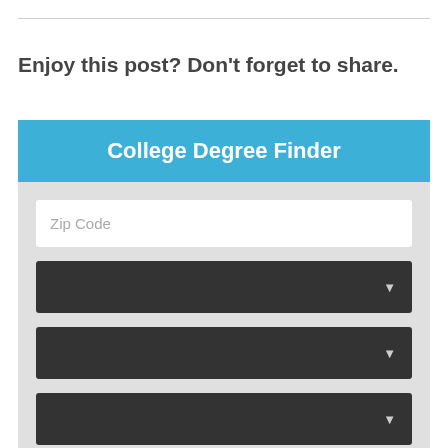Enjoy this post? Don't forget to share.
[Figure (screenshot): College Degree Finder widget with a blue header, zip code text input, three dark dropdown selectors with down-arrow icons, and a pink/magenta search button at the bottom.]